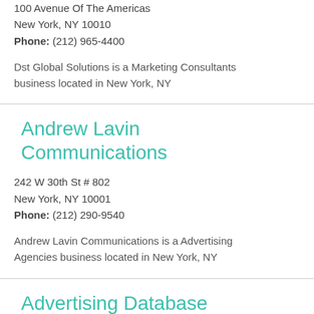100 Avenue Of The Americas
New York, NY 10010
Phone: (212) 965-4400
Dst Global Solutions is a Marketing Consultants business located in New York, NY
Andrew Lavin Communications
242 W 30th St # 802
New York, NY 10001
Phone: (212) 290-9540
Andrew Lavin Communications is a Advertising Agencies business located in New York, NY
Advertising Database